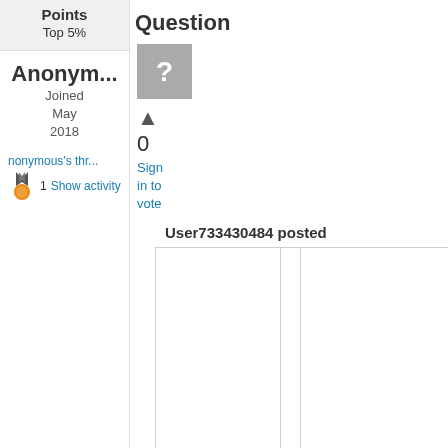Points
Top 5%
Anonym...
Joined
May
2018
nonymous's thr...
1
Show activity
Question
0
Sign in to vote
User733430484 posted
| SampleId | R | AcquisitionTi... | QCStatus | DatasetFile | Method File | P213.617(c... | B249.677(c... | Mg285.213(c... |
| --- | --- | --- | --- | --- | --- | --- | --- | --- |